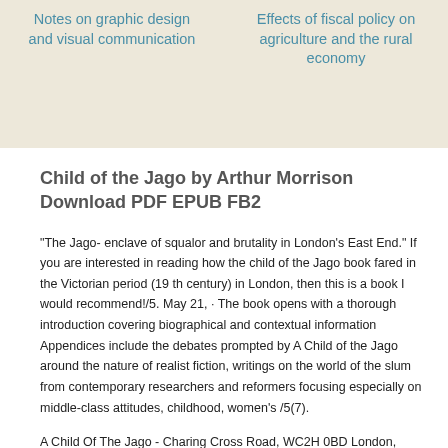Notes on graphic design and visual communication
Effects of fiscal policy on agriculture and the rural economy
Child of the Jago by Arthur Morrison Download PDF EPUB FB2
“The Jago- enclave of squalor and brutality in London’s East End.” If you are interested in reading how the child of the Jago book fared in the Victorian period (19 th century) in London, then this is a book I would recommend!/5. May 21,  · The book opens with a thorough introduction covering biographical and contextual information Appendices include the debates prompted by A Child of the Jago around the nature of realist fiction, writings on the world of the slum from contemporary researchers and reformers focusing especially on middle-class attitudes, childhood, women’s /5(7).
A Child Of The Jago - Charing Cross Road, WC2H 0BD London,